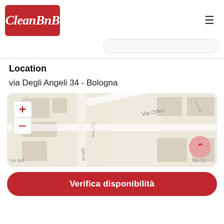CleanBnB
Location
via Degli Angeli 34 - Bologna
[Figure (map): Street map showing Via Orfeo and surrounding streets in Bologna, with zoom controls on the left and a scroll-up button on the right.]
Verifica disponibilità